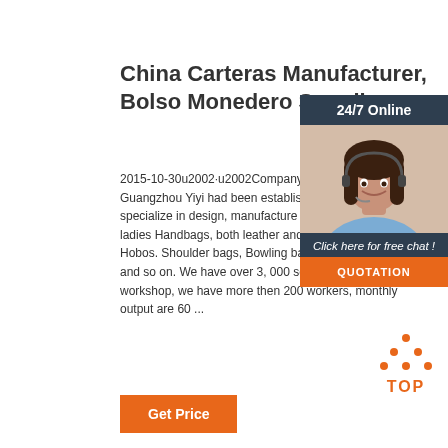China Carteras Manufacturer, Bolso Monedero Supplier
2015-10-30u2002·u2002Company Introduction. Guangzhou Yiyi had been established in 1992, specialize in design, manufacture and export of various ladies Handbags, both leather and PU, such as Totes, Hobos. Shoulder bags, Bowling bag, Satchel, Clutches and so on. We have over 3, 000 square-meter workshop, we have more then 200 workers, monthly output are 60 ...
[Figure (other): Chat widget overlay showing a customer service representative wearing a headset, with '24/7 Online' header, 'Click here for free chat!' text, and an orange QUOTATION button]
[Figure (other): Orange TOP button with upward-pointing dotted triangle icon]
Get Price